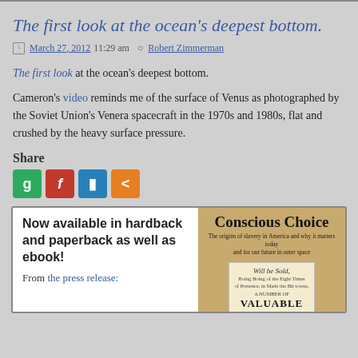The first look at the ocean's deepest bottom.
March 27, 2012 11:29 am  Robert Zimmerman
The first look at the ocean's deepest bottom.
Cameron's video reminds me of the surface of Venus as photographed by the Soviet Union's Venera spacecraft in the 1970s and 1980s, flat and crushed by the heavy surface pressure.
Share
[Figure (infographic): Social share buttons: Google+ (green), Flipboard (red), Pocket (blue), Share (orange)]
Now available in hardback and paperback as well as ebook!
From the press release:
[Figure (photo): Book cover for 'Conscious Choice: The origins of slavery in America and why it matters today and for our future in outer space', with a vintage auction document visible at the bottom reading 'Will be Sold... VALUABLE']